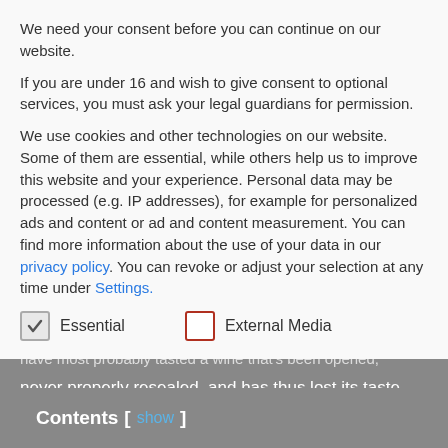We need your consent before you can continue on our website.
If you are under 16 and wish to give consent to optional services, you must ask your legal guardians for permission.
We use cookies and other technologies on our website. Some of them are essential, while others help us to improve this website and your experience. Personal data may be processed (e.g. IP addresses), for example for personalized ads and content or ad and content measurement. You can find more information about the use of your data in our privacy policy. You can revoke or adjust your selection at any time under Settings.
Essential
External Media
have most probably tasted a wine that's been opened, never properly resealed, and has thus lost its taste.
Contents [ show ]